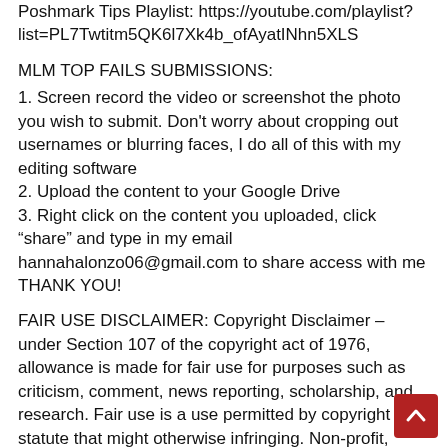Poshmark Tips Playlist: https://youtube.com/playlist?list=PL7Twtitm5QK6l7Xk4b_ofAyatINhn5XLS
MLM TOP FAILS SUBMISSIONS:
1. Screen record the video or screenshot the photo you wish to submit. Don't worry about cropping out usernames or blurring faces, I do all of this with my editing software
2. Upload the content to your Google Drive
3. Right click on the content you uploaded, click “share” and type in my email hannahalonzo06@gmail.com to share access with me
THANK YOU!
FAIR USE DISCLAIMER: Copyright Disclaimer – under Section 107 of the copyright act of 1976, allowance is made for fair use for purposes such as criticism, comment, news reporting, scholarship, and research. Fair use is a use permitted by copyright statute that might otherwise infringing. Non-profit, educational or personal use tips the